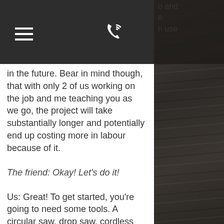Navigation bar with hamburger menu and phone icon
in the future. Bear in mind though, that with only 2 of us working on the job and me teaching you as we go, the project will take substantially longer and potentially end up costing more in labour because of it.
The friend: Okay! Let’s do it!
Us: Great! To get started, you’re going to need some tools. A circular saw, drop saw, cordless drill, bit set, router, jig saw, nail bag, hammer, etc...
The friend: But I don’t have any of those tools and I can’t justify spending all that money to buy all of these for just one job.